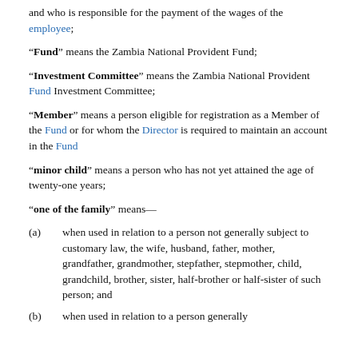and who is responsible for the payment of the wages of the employee;
"Fund" means the Zambia National Provident Fund;
"Investment Committee" means the Zambia National Provident Fund Investment Committee;
"Member" means a person eligible for registration as a Member of the Fund or for whom the Director is required to maintain an account in the Fund
"minor child" means a person who has not yet attained the age of twenty-one years;
"one of the family" means—
(a) when used in relation to a person not generally subject to customary law, the wife, husband, father, mother, grandfather, grandmother, stepfather, stepmother, child, grandchild, brother, sister, half-brother or half-sister of such person; and
(b) when used in relation to a person generally